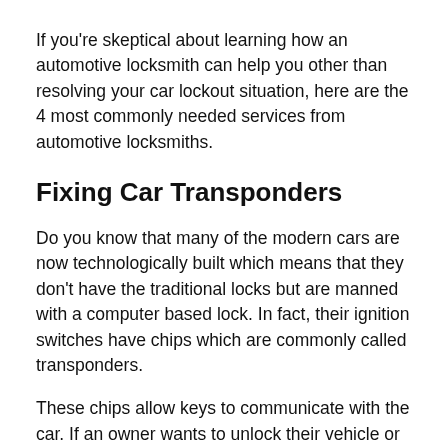If you're skeptical about learning how an automotive locksmith can help you other than resolving your car lockout situation, here are the 4 most commonly needed services from automotive locksmiths.
Fixing Car Transponders
Do you know that many of the modern cars are now technologically built which means that they don't have the traditional locks but are manned with a computer based lock. In fact, their ignition switches have chips which are commonly called transponders.
These chips allow keys to communicate with the car. If an owner wants to unlock their vehicle or start up the engine, only the authorized key can transpond to its command. What if your car transponder suddenly stops